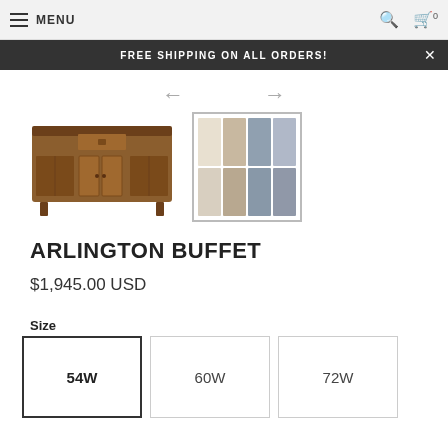≡ MENU
FREE SHIPPING ON ALL ORDERS!
[Figure (photo): Arlington Buffet furniture product image showing a wooden sideboard with drawers and cabinet doors, warm brown finish]
[Figure (other): Color swatch grid showing 8 fabric/finish options in beige, tan, blue-grey, and grey tones arranged in 2 rows of 4]
ARLINGTON BUFFET
$1,945.00 USD
Size
54W
60W
72W